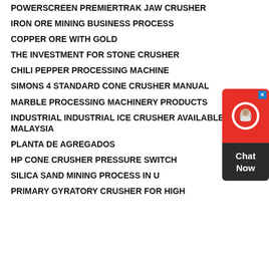POWERSCREEN PREMIERTRAK JAW CRUSHER
IRON ORE MINING BUSINESS PROCESS
COPPER ORE WITH GOLD
THE INVESTMENT FOR STONE CRUSHER
CHILI PEPPER PROCESSING MACHINE
SIMONS 4 STANDARD CONE CRUSHER MANUAL
MARBLE PROCESSING MACHINERY PRODUCTS
INDUSTRIAL INDUSTRIAL ICE CRUSHER AVAILABLE IN MALAYSIA
PLANTA DE AGREGADOS
HP CONE CRUSHER PRESSURE SWITCH
SILICA SAND MINING PROCESS IN U
PRIMARY GYRATORY CRUSHER FOR HIGH
[Figure (other): Live chat widget with red icon box showing a headset/support icon and a dark box saying 'Chat Now' with a blue close X button]